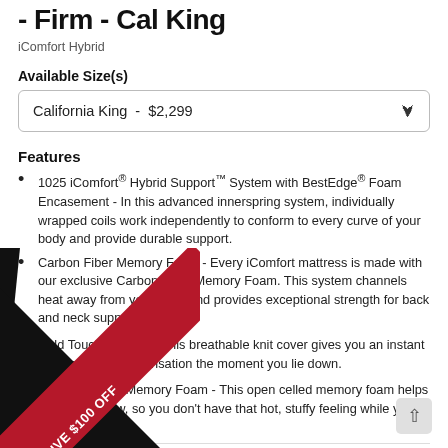- Firm - Cal King
iComfort Hybrid
Available Size(s)
California King  -  $2,299
Features
1025 iComfort® Hybrid Support™ System with BestEdge® Foam Encasement - In this advanced innerspring system, individually wrapped coils work independently to conform to every curve of your body and provide durable support.
Carbon Fiber Memory Foam - Every iComfort mattress is made with our exclusive Carbon Fiber Memory Foam. This system channels heat away from your body and provides exceptional strength for back and neck support.
Cold Touch™ Cover - This breathable knit cover gives you an instant cool-to-the-touch sensation the moment you lie down.
iComfort® Max Memory Foam - This open celled memory foam helps promote airflow, so you don't have that hot, stuffy feeling while you sleep.
[Figure (other): *RECEIVE $100 OFF promotional diagonal red banner]